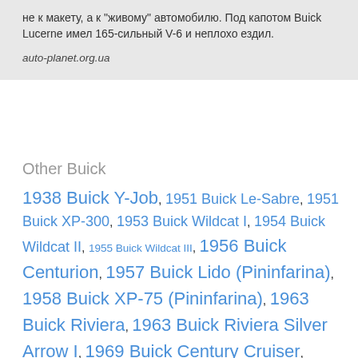не к макету, а к "живому" автомобилю. Под капотом Buick Lucerne имел 165-сильный V-6 и неплохо ездил.
auto-planet.org.ua
Other Buick
1938 Buick Y-Job, 1951 Buick Le-Sabre, 1951 Buick XP-300, 1953 Buick Wildcat I, 1954 Buick Wildcat II, 1955 Buick Wildcat III, 1956 Buick Centurion, 1957 Buick Lido (Pininfarina), 1958 Buick XP-75 (Pininfarina), 1963 Buick Riviera, 1963 Buick Riviera Silver Arrow I, 1969 Buick Century Cruiser, 1972 Buick Riviera Silver Arrow III, 1983 Buick Questor, 1985 Buick WildCat, 1988